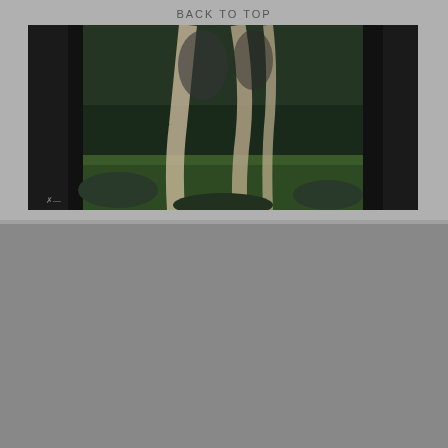BACK TO TOP
[Figure (illustration): Comic book style illustration of a dark forest or dungeon scene with tall shadowy figures and hanging cloth or ropes, green and dark tonal palette]
[Figure (illustration): Game card for ZOMBIES showing a skull with chains on left side and a zombie game stat card on right. Card stats: M:4, F:+0, S:+0, A:12, W:+0. Health section with 3 rows of checkboxes. Undead special rule text: 'When there's no more room in Hell, the dead will walk the earth']